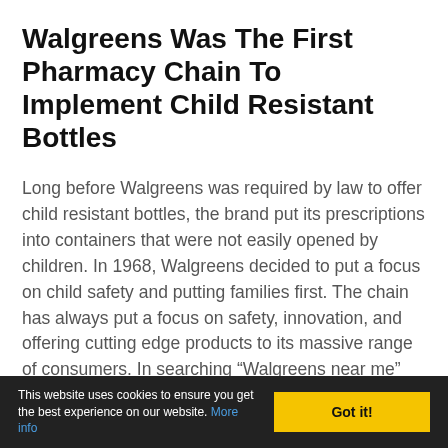Walgreens Was The First Pharmacy Chain To Implement Child Resistant Bottles
Long before Walgreens was required by law to offer child resistant bottles, the brand put its prescriptions into containers that were not easily opened by children. In 1968, Walgreens decided to put a focus on child safety and putting families first. The chain has always put a focus on safety, innovation, and offering cutting edge products to its massive range of consumers. In searching “Walgreens near me” we think family safety is certainly something to a consider and one more
This website uses cookies to ensure you get the best experience on our website. More info